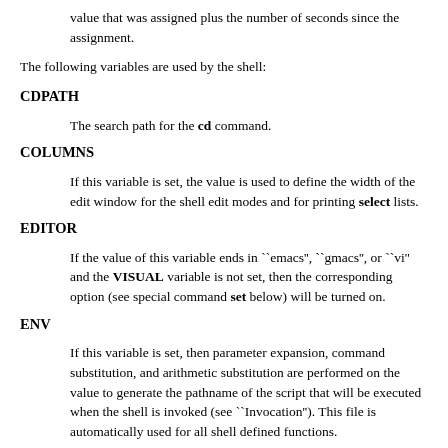value that was assigned plus the number of seconds since the assignment.
The following variables are used by the shell:
CDPATH
The search path for the cd command.
COLUMNS
If this variable is set, the value is used to define the width of the edit window for the shell edit modes and for printing select lists.
EDITOR
If the value of this variable ends in ``emacs'', ``gmacs'', or ``vi'' and the VISUAL variable is not set, then the corresponding option (see special command set below) will be turned on.
ENV
If this variable is set, then parameter expansion, command substitution, and arithmetic substitution are performed on the value to generate the pathname of the script that will be executed when the shell is invoked (see ``Invocation''). This file is automatically used for all shell defined functions.